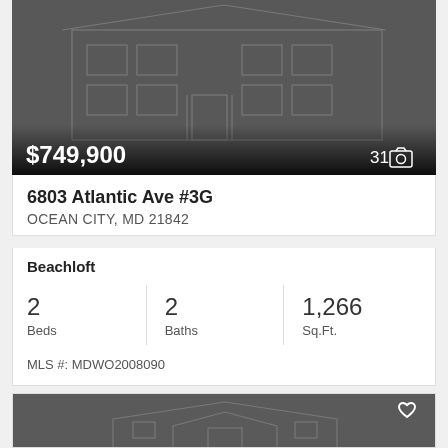[Figure (screenshot): Dark grey property image showing outline/wireframe of a multi-story building with price overlay showing $749,900 and photo count of 31]
6803 Atlantic Ave #3G
OCEAN CITY, MD 21842
Beachloft
2 Beds
2 Baths
1,266 Sq.Ft.
MLS #: MDWO2008090
[Figure (screenshot): Dark grey property image showing outline of a single-story house with a heart/favorite icon in the upper right corner]